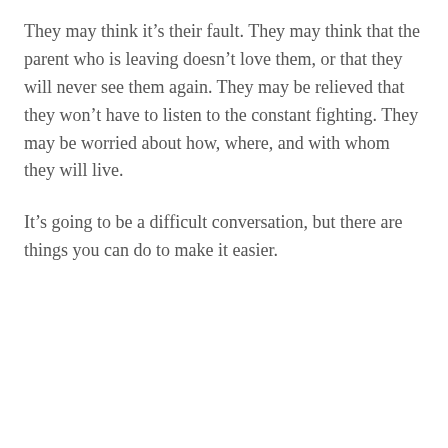They may think it’s their fault. They may think that the parent who is leaving doesn’t love them, or that they will never see them again. They may be relieved that they won’t have to listen to the constant fighting. They may be worried about how, where, and with whom they will live.
It’s going to be a difficult conversation, but there are things you can do to make it easier.